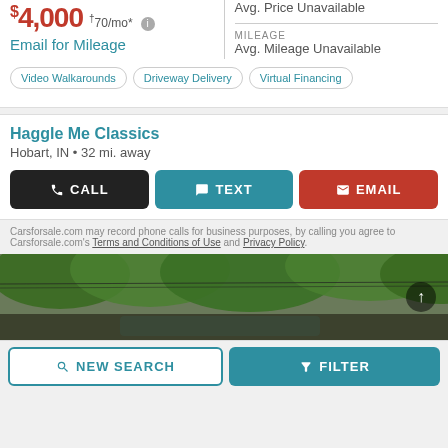$4,000 †70/mo*
Email for Mileage
Avg. Price Unavailable
MILEAGE
Avg. Mileage Unavailable
Video Walkarounds
Driveway Delivery
Virtual Financing
Haggle Me Classics
Hobart, IN • 32 mi. away
CALL
TEXT
EMAIL
Carsforsale.com may record phone calls for business purposes, by calling you agree to Carsforsale.com's Terms and Conditions of Use and Privacy Policy.
[Figure (photo): Outdoor photo showing a vehicle partially visible at the bottom with green trees in the background]
NEW SEARCH
FILTER